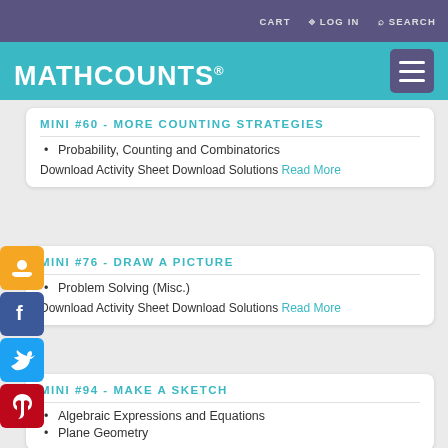CART   LOG IN   SEARCH
MATHCOUNTS®
Points Part 1 (above) covers the fundamentals of Mass Points.
MINI #60 - MORE COUNTING STRATEGIES
Probability, Counting and Combinatorics
Download Activity Sheet Download Solutions Read More
MINI #76 - DRAW A PICTURE
Problem Solving (Misc.)
Download Activity Sheet Download Solutions Read More
MINI #94 - MAKE A SKETCH
Algebraic Expressions and Equations
Plane Geometry